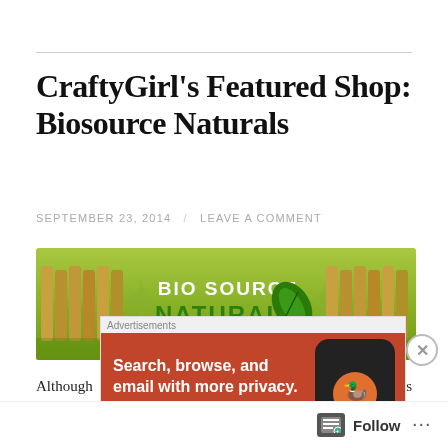CraftyGirl's Featured Shop: Biosource Naturals
SEPTEMBER 23, 2014 / LEAVE A COMMENT
[Figure (photo): Bio Source Naturals banner advertisement showing rows of essential oil bottles on a green background with the company name and a leaf logo.]
Although their Etsy shop is new, Biosource Naturals has been selling online on various
[Figure (screenshot): DuckDuckGo advertisement banner with orange background showing 'Search, browse, and email with more privacy.' text and a phone image with DuckDuckGo logo. Includes an 'All-In-One-A...' button.]
Follow ...